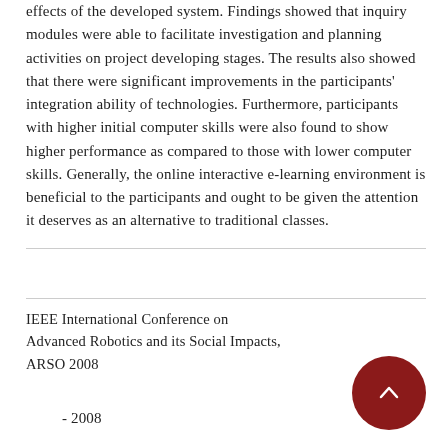effects of the developed system. Findings showed that inquiry modules were able to facilitate investigation and planning activities on project developing stages. The results also showed that there were significant improvements in the participants' integration ability of technologies. Furthermore, participants with higher initial computer skills were also found to show higher performance as compared to those with lower computer skills. Generally, the online interactive e-learning environment is beneficial to the participants and ought to be given the attention it deserves as an alternative to traditional classes.
IEEE International Conference on Advanced Robotics and its Social Impacts, ARSO 2008
- 2008